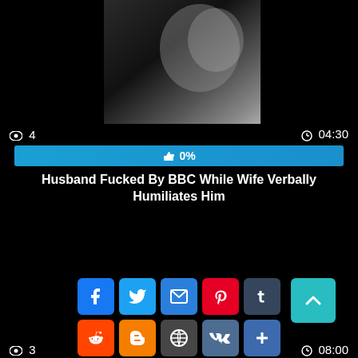[Figure (screenshot): Video thumbnail showing dark/blurry image content]
👁 4   ⏱04:30
👍 0%
Husband Fucked By BBC While Wife Verbally Humiliates Him
[Figure (infographic): Social share buttons: Facebook, Twitter, Email, Pinterest, Tumblr, Reddit, Blogger, WordPress, VK, More]
👁 3   ⏱08:00